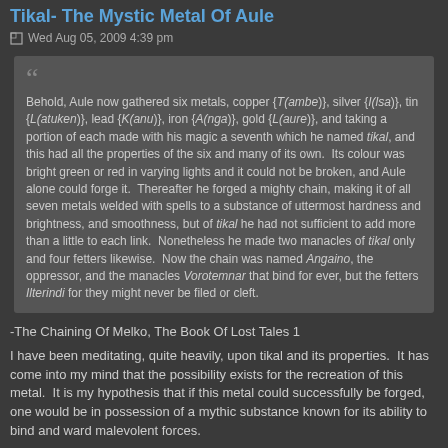Tikal- The Mystic Metal Of Aule
Wed Aug 05, 2009 4:39 pm
Behold, Aule now gathered six metals, copper {T(ambe)}, silver {I(lsa)}, tin {L(atuken)}, lead {K(anu)}, iron {A(nga)}, gold {L(aure)}, and taking a portion of each made with his magic a seventh which he named tikal, and this had all the properties of the six and many of its own. Its colour was bright green or red in varying lights and it could not be broken, and Aule alone could forge it. Thereafter he forged a mighty chain, making it of all seven metals welded with spells to a substance of uttermost hardness and brightness, and smoothness, but of tikal he had not sufficient to add more than a little to each link. Nonetheless he made two manacles of tikal only and four fetters likewise. Now the chain was named Angaino, the oppressor, and the manacles Vorotemnar that bind for ever, but the fetters Ilterindi for they might never be filed or cleft.
-The Chaining Of Melko, The Book Of Lost Tales 1
I have been meditating, quite heavily, upon tikal and its properties. It has come into my mind that the possibility exists for the recreation of this metal. It is my hypothesis that if this metal could successfully be forged, one would be in possession of a mythic substance known for its ability to bind and ward malevolent forces.
I have learned from Aule that if tikal is recreated, that a person can use